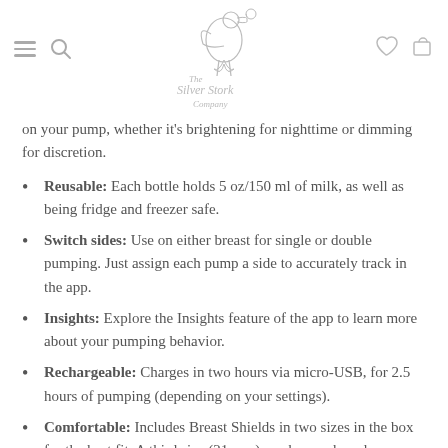The Silver Stork Company
on your pump, whether it's brightening for nighttime or dimming for discretion.
Reusable: Each bottle holds 5 oz/150 ml of milk, as well as being fridge and freezer safe.
Switch sides: Use on either breast for single or double pumping. Just assign each pump a side to accurately track in the app.
Insights: Explore the Insights feature of the app to learn more about your pumping behavior.
Rechargeable: Charges in two hours via micro-USB, for 2.5 hours of pumping (depending on your settings).
Comfortable: Includes Breast Shields in two sizes in the box for the best fit. A third size (21 mm) can be purchased separately.